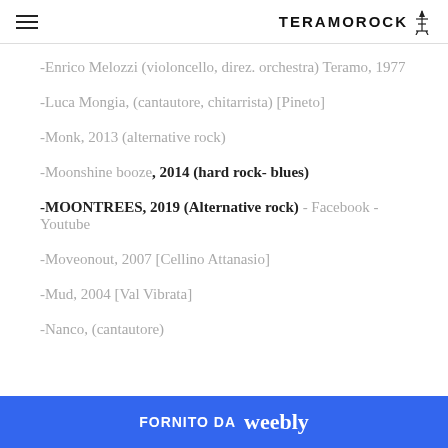TERAMOROCK
-Enrico Melozzi (violoncello, direz. orchestra) Teramo, 1977
-Luca Mongia, (cantautore, chitarrista) [Pineto]
-Monk, 2013 (alternative rock)
-Moonshine booze, 2014 (hard rock- blues)
-MOONTREES, 2019 (Alternative rock) - Facebook - Youtube
-Moveonout, 2007 [Cellino Attanasio]
-Mud, 2004 [Val Vibrata]
-Nanco, (cantautore)
FORNITO DA weebly